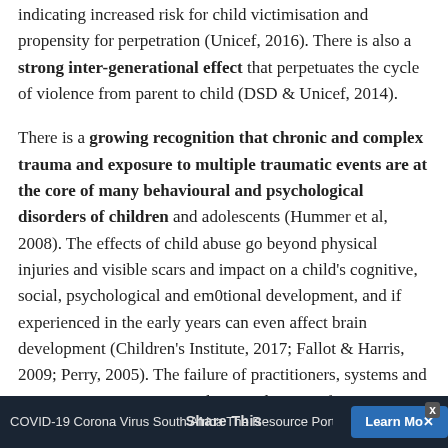indicating increased risk for child victimisation and propensity for perpetration (Unicef, 2016). There is also a strong inter-generational effect that perpetuates the cycle of violence from parent to child (DSD & Unicef, 2014).
There is a growing recognition that chronic and complex trauma and exposure to multiple traumatic events are at the core of many behavioural and psychological disorders of children and adolescents (Hummer et al, 2008). The effects of child abuse go beyond physical injuries and visible scars and impact on a child's cognitive, social, psychological and em0tional development, and if experienced in the early years can even affect brain development (Children's Institute, 2017; Fallot & Harris, 2009; Perry, 2005). The failure of practitioners, systems and governments to appreciate the complexities of trauma means that many survivors of
COVID-19 Corona Virus South Africa The Resource Portal   Share This   Learn Mo×